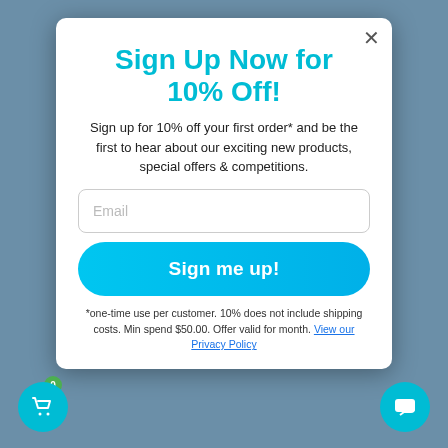Sign Up Now for 10% Off!
Sign up for 10% off your first order* and be the first to hear about our exciting new products, special offers & competitions.
Email
Sign me up!
*one-time use per customer. 10% does not include shipping costs. Min spend $50.00. Offer valid for month. View our Privacy Policy